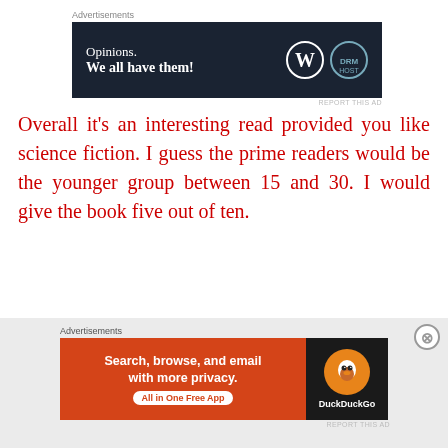[Figure (screenshot): Top advertisement banner: dark navy background with 'Opinions. We all have them!' text in white and WordPress/DreamHost logos on the right.]
Overall it's an interesting read provided you like science fiction. I guess the prime readers would be the younger group between 15 and 30. I would give the book five out of ten.
Goodbye and see you soon.
By Kamlesh Tripathi
*
[Figure (screenshot): Bottom advertisement banner: DuckDuckGo ad with orange background reading 'Search, browse, and email with more privacy. All in One Free App' with DuckDuckGo duck logo on dark right panel.]